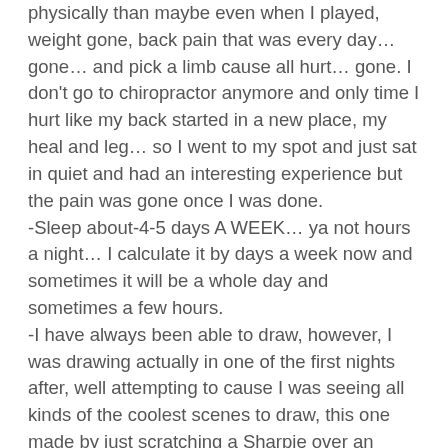physically than maybe even when I played, weight gone, back pain that was every day... gone... and pick a limb cause all hurt... gone. I don't go to chiropractor anymore and only time I hurt like my back started in a new place, my heal and leg... so I went to my spot and just sat in quiet and had an interesting experience but the pain was gone once I was done.
-Sleep about-4-5 days A WEEK... ya not hours a night... I calculate it by days a week now and sometimes it will be a whole day and sometimes a few hours.
-I have always been able to draw, however, I was drawing actually in one of the first nights after, well attempting to cause I was seeing all kinds of the coolest scenes to draw, this one made by just scratching a Sharpie over an image and a scene showed up for me..